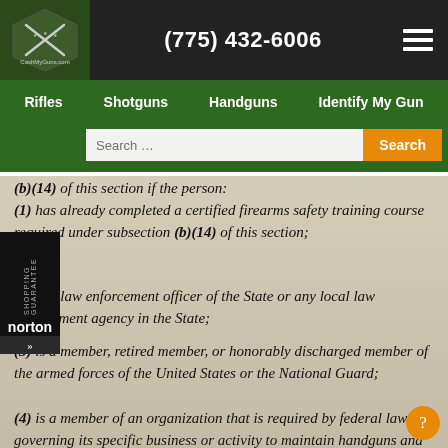(775) 432-6006 | CashMyGuns.com
Rifles | Shotguns | Handguns | Identify My Gun
(b)(14) of this section if the person:
(1) has already completed a certified firearms safety training course required under subsection (b)(14) of this section;
(2) is a law enforcement officer of the State or any local law enforcement agency in the State;
(3) is a member, retired member, or honorably discharged member of the armed forces of the United States or the National Guard;
(4) is a member of an organization that is required by federal law governing its specific business or activity to maintain handguns and applicable ammunition;
(5) has been issued a permit to carry a handgun under